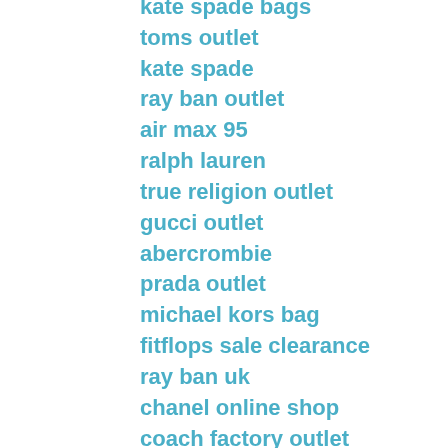kate spade bags
toms outlet
kate spade
ray ban outlet
air max 95
ralph lauren
true religion outlet
gucci outlet
abercrombie
prada outlet
michael kors bag
fitflops sale clearance
ray ban uk
chanel online shop
coach factory outlet
tory burch outlet online
true religion outlet
ray ban glasses
oakley sunglasses
coach factory outlet
rolex watches
chanel outlet
soccer jerseys